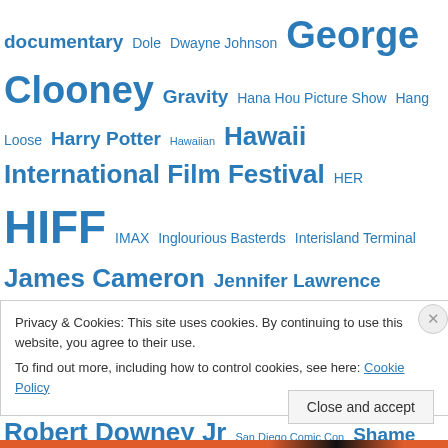documentary Dole Dwayne Johnson George Clooney Gravity Hana Hou Picture Show Hang Loose Harry Potter Hawaiian Hawaii International Film Festival HER HIFF IMAX Inglourious Basterds Interisland Terminal James Cameron Jennifer Lawrence Leonardo DiCaprio lists marketing Marvel Michael Fassbender Midnight Screening Moneyball New Moon oscars Paradise Broken R&D Robert Downey Jr San Diego Comic Con Shame Short Term 12 Sony
Privacy & Cookies: This site uses cookies. By continuing to use this website, you agree to their use.
To find out more, including how to control cookies, see here: Cookie Policy
Close and accept